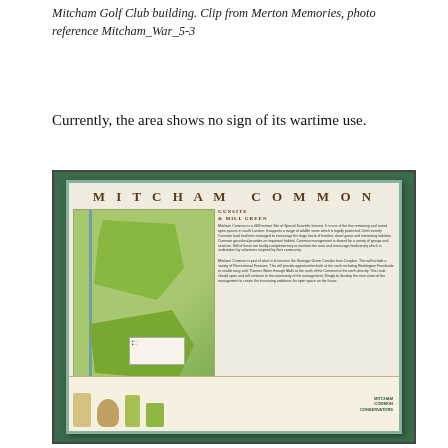Mitcham Golf Club building. Clip from Merton Memories, photo reference Mitcham_War_5-3
Currently, the area shows no sign of its wartime use.
[Figure (photo): Photograph of a Mitcham Common information board displayed on a green-bordered board. The board is titled 'MITCHAM COMMON' in large spaced lettering and shows a detailed map of Mitcham Common with green areas, a section titled 'GUNSITE & MILL GREEN', descriptive text panels, a flora/fauna strip at the bottom, and the Mitcham Common Conservators logo in the lower right corner.]